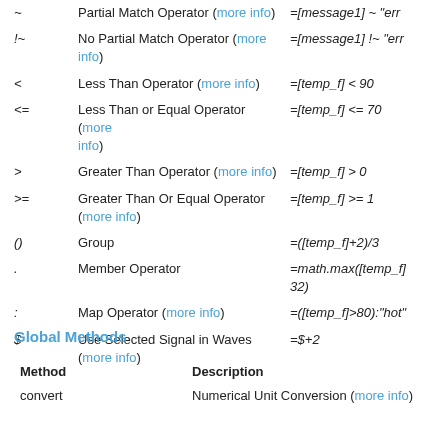| Operator | Description | Example |
| --- | --- | --- |
| ~ | Partial Match Operator (more info) | =[message1] ~ "err |
| !~ | No Partial Match Operator (more info) | =[message1] !~ "err |
| < | Less Than Operator (more info) | =[temp_f] < 90 |
| <= | Less Than or Equal Operator (more info) | =[temp_f] <= 70 |
| > | Greater Than Operator (more info) | =[temp_f] > 0 |
| >= | Greater Than Or Equal Operator (more info) | =[temp_f] >= 1 |
| () | Group | =([temp_f]+2)/3 |
| . | Member Operator | =math.max([temp_f] 32) |
| : | Map Operator (more info) | =([temp_f]>80):"hot" |
| $ | Use Selected Signal in Waves (more info) | =$+2 |
Global Methods
| Method | Description |
| --- | --- |
| convert | Numerical Unit Conversion (more info) |